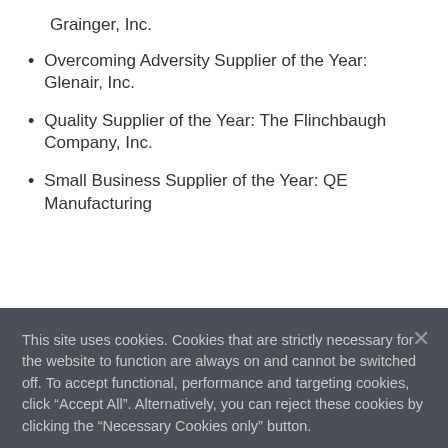Grainger, Inc.
Overcoming Adversity Supplier of the Year: Glenair, Inc.
Quality Supplier of the Year: The Flinchbaugh Company, Inc.
Small Business Supplier of the Year: QE Manufacturing
This site uses cookies. Cookies that are strictly necessary for the website to function are always on and cannot be switched off. To accept functional, performance and targeting cookies, click “Accept All”. Alternatively, you can reject these cookies by clicking the “Necessary Cookies only” button.
Manage My Choices
Necessary Cookies only
Accept All